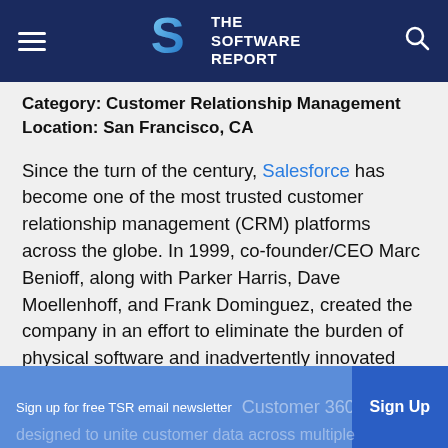THE SOFTWARE REPORT
Category: Customer Relationship Management
Location: San Francisco, CA
Since the turn of the century, Salesforce has become one of the most trusted customer relationship management (CRM) platforms across the globe. In 1999, co-founder/CEO Marc Benioff, along with Parker Harris, Dave Moellenhoff, and Frank Dominguez, created the company in an effort to eliminate the burden of physical software and inadvertently innovated Software-as-a-Service (SaaS) in the process. Salesforce was the first company to focus on SaaS from its inception and continues to pioneer the industry.
Sign up for free TSR email newsletter  Customer 360 platform designed to unite customer data across multiple